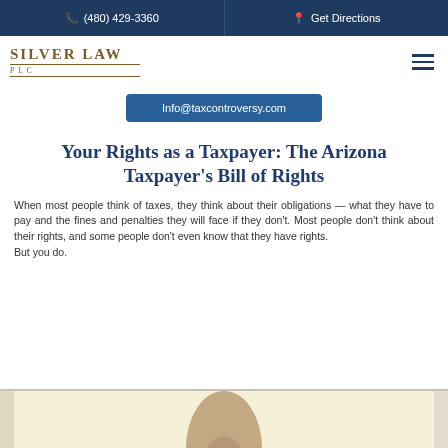(480) 429-3360  |  Get Directions
[Figure (logo): Silver Law PLC logo with decorative lines]
Info@taxcontroversy.com
Your Rights as a Taxpayer: The Arizona Taxpayer's Bill of Rights
When most people think of taxes, they think about their obligations — what they have to pay and the fines and penalties they will face if they don't. Most people don't think about their rights, and some people don't even know that they have rights.
But you do.
[Figure (photo): Partial photo at bottom of page showing a light yellow background with what appears to be a figure or object, cropped]